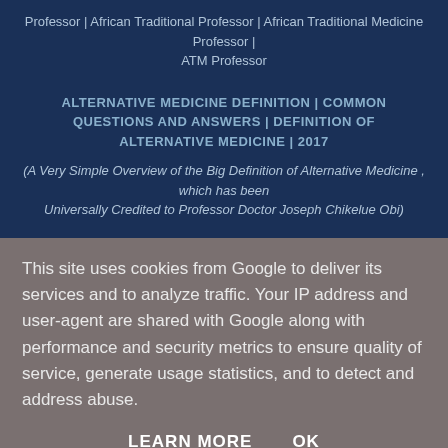Professor | African Traditional Professor | African Traditional Medicine Professor | ATM Professor
ALTERNATIVE MEDICINE DEFINITION | COMMON QUESTIONS AND ANSWERS | DEFINITION OF ALTERNATIVE MEDICINE | 2017
(A Very Simple Overview of the Big Definition of Alternative Medicine , which has been Universally Credited to Professor Doctor Joseph Chikelue Obi)
This site uses cookies from Google to deliver its services and to analyze traffic. Your IP address and user-agent are shared with Google along with performance and security metrics to ensure quality of service, generate usage statistics, and to detect and address abuse.
LEARN MORE    OK